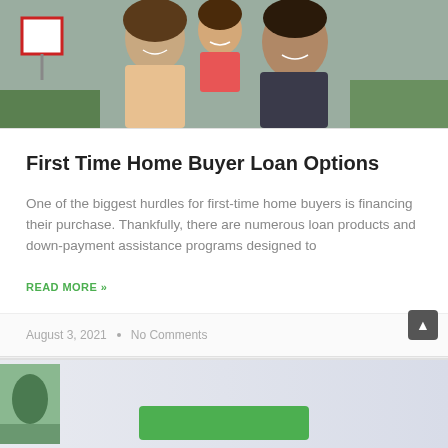[Figure (photo): Family photo showing a woman, man, and child smiling outdoors near a real estate sign]
First Time Home Buyer Loan Options
One of the biggest hurdles for first-time home buyers is financing their purchase. Thankfully, there are numerous loan products and down-payment assistance programs designed to
READ MORE »
August 3, 2021  •  No Comments
[Figure (photo): Partial view of a second article with a blue/lavender tinted image and a green button at bottom]